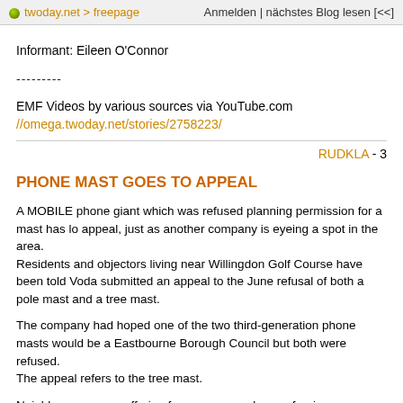twoday.net > freepage    Anmelden | nächstes Blog lesen [<<]
Informant: Eileen O'Connor
---------
EMF Videos by various sources via YouTube.com
//omega.twoday.net/stories/2758223/
RUDKLA - 3
PHONE MAST GOES TO APPEAL
A MOBILE phone giant which was refused planning permission for a mast has lo appeal, just as another company is eyeing a spot in the area.
Residents and objectors living near Willingdon Golf Course have been told Voda submitted an appeal to the June refusal of both a pole mast and a tree mast.
The company had hoped one of the two third-generation phone masts would be a Eastbourne Borough Council but both were refused.
The appeal refers to the tree mast.
Neighbours, some suffering from cancer and many fearing unproven health risks a mast, had written hundreds of letters of objection to the proposals for the Area